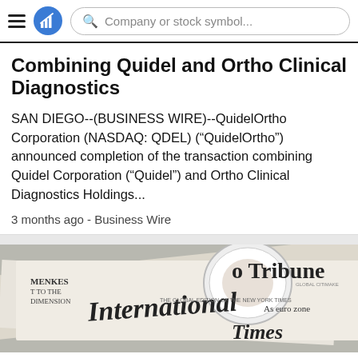Company or stock symbol...
Combining Quidel and Ortho Clinical Diagnostics
SAN DIEGO--(BUSINESS WIRE)--QuidelOrtho Corporation (NASDAQ: QDEL) (“QuidelOrtho”) announced completion of the transaction combining Quidel Corporation (“Quidel”) and Ortho Clinical Diagnostics Holdings...
3 months ago - Business Wire
[Figure (photo): Newspaper front pages including International Herald Tribune and another newspaper, with a coffee mug, viewed from above on a table.]
Press Release
[Figure (photo): Bottom strip showing a partial image, possibly a person or document in a meeting context.]